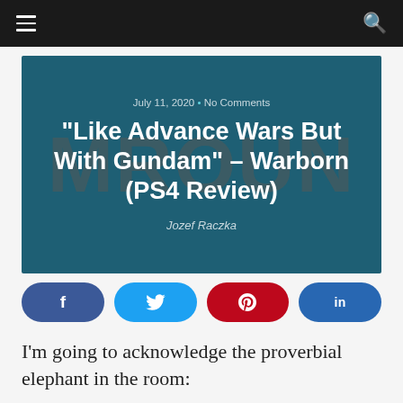≡  🔍
[Figure (screenshot): Hero image with dark teal background and large faded text 'MROUN' behind centered white article title and metadata]
July 11, 2020 • No Comments
“Like Advance Wars But With Gundam” – Warborn (PS4 Review)
Jozef Raczka
[Figure (infographic): Social share buttons row: Facebook (dark blue), Twitter (light blue), Pinterest (red), LinkedIn (blue)]
I’m going to acknowledge the proverbial elephant in the room: